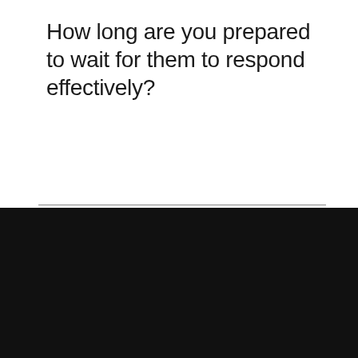How long are you prepared to wait for them to respond effectively?
Reply
This website uses necessary cookies to make it work and to remember your preferences. Click on 'Cookie settings' to control your consent for other cookies or click on 'Accept all' to consent to the use of all cookies. By continuing to browse this website you are agreeing to our Privacy policy.
Accept all | Cookie settings | Privacy policy